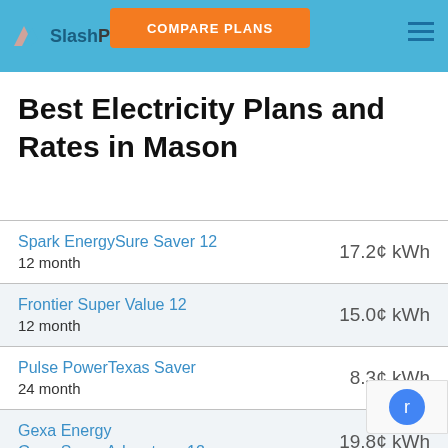SlashPlan — COMPARE PLANS
Best Electricity Plans and Rates in Mason
Spark EnergySure Saver 12 | 12 month | 17.2¢ kWh
Frontier Super Value 12 | 12 month | 15.0¢ kWh
Pulse PowerTexas Saver | 24 month | 8.3¢ kWh
Gexa Energy Gexa Saver Advantage 12 | 12 month | 19.8¢ kWh